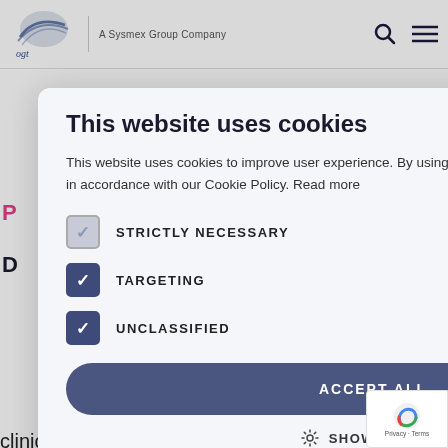OGT – A Sysmex Group Company
This website uses cookies
This website uses cookies to improve user experience. By using our website you consent to all cookies in accordance with our Cookie Policy. Read more
STRICTLY NECESSARY
TARGETING
UNCLASSIFIED
ACCEPT ALL
SHOW DETAILS
nital
diofacial
omosome 22 at
s are
at cover
clinical findings of cardiac abnormality, Abnormal facies, Thymic aplasia, Cleft palate